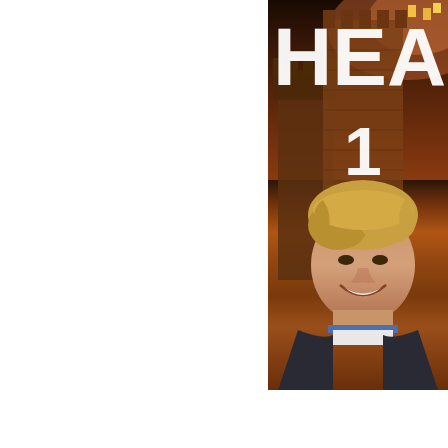[Figure (photo): Book cover showing partial view: large white bold letters 'HEA' at top, number '1' below, castle/fortress background with warm orange-brown tones, smiling young man with blonde hair in foreground wearing a dark jacket with blue collar]
Reformation,